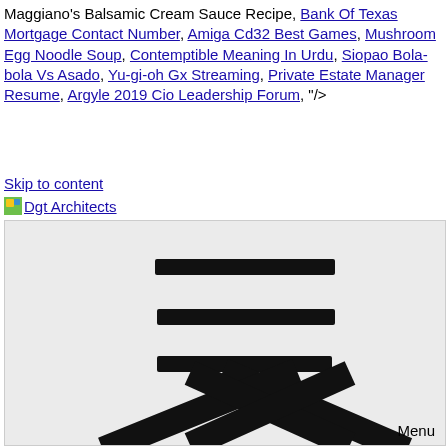Maggiano's Balsamic Cream Sauce Recipe, Bank Of Texas Mortgage Contact Number, Amiga Cd32 Best Games, Mushroom Egg Noodle Soup, Contemptible Meaning In Urdu, Siopao Bola-bola Vs Asado, Yu-gi-oh Gx Streaming, Private Estate Manager Resume, Argyle 2019 Cio Leadership Forum, "/>
Skip to content
Dgt Architects
[Figure (other): Menu toggle icon showing three horizontal bars (hamburger menu) in the upper portion and a large X (close icon) in the lower portion, on a light gray background. The word 'Menu' appears in the bottom right corner.]